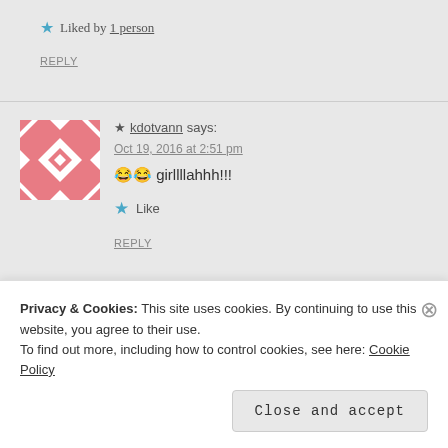★ Liked by 1 person
REPLY
[Figure (illustration): Pink and white geometric quilt-pattern avatar for kdotvann]
★ kdotvann says:
Oct 19, 2016 at 2:51 pm
😂😂 girllllahhh!!!
★ Like
REPLY
Privacy & Cookies: This site uses cookies. By continuing to use this website, you agree to their use.
To find out more, including how to control cookies, see here: Cookie Policy
Close and accept